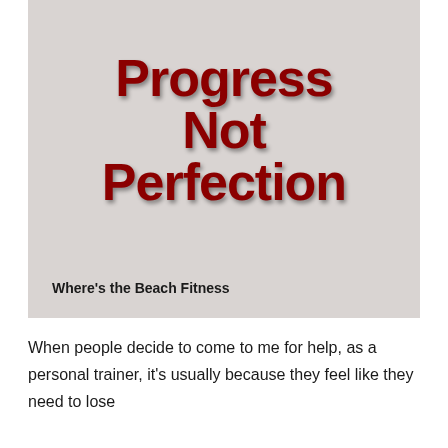[Figure (illustration): Light gray/beige background image block with bold dark red text 'Progress Not Perfection' centered, and 'Where's the Beach Fitness' in bold black at bottom left]
Progress Not Perfection
Where's the Beach Fitness
When people decide to come to me for help, as a personal trainer, it's usually because they feel like they need to lose